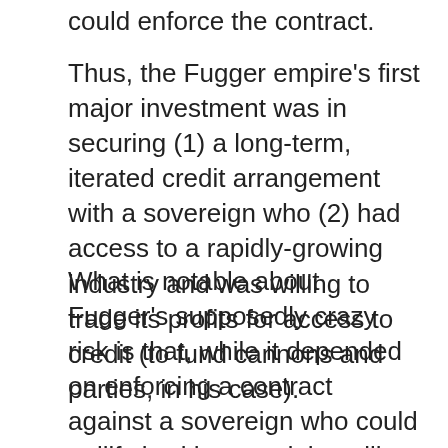could enforce the contract.
Thus, the Fugger empire's first major investment was in securing (1) a long-term, iterated credit arrangement with a sovereign who (2) had access to a rapidly-growing industry and was willing to trade its profits for access to credit (to fund cannons and parties, in his case).
What is notable about Fugger's supposedly crazy risk is that, while it depended on enforcing a contract against a sovereign who could nullify it with a word, he still set himself up for a consistent, long-term benefit that could be squeezed from Sigismund so long as he